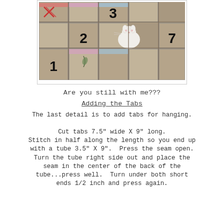[Figure (photo): Photo of a fabric advent calendar quilt with numbered pockets (1, 2, 3, 7 visible) made of linen/canvas with colorful floral fabric accents, and a small white stuffed mouse toy sitting on top.]
Are you still with me???
Adding the Tabs
The last detail is to add tabs for hanging.

Cut tabs 7.5" wide X 9" long.
Stitch in half along the length so you end up with a tube 3.5" X 9".  Press the seam open.  Turn the tube right side out and place the seam in the center of the back of the tube...press well.  Turn under both short ends 1/2 inch and press again.